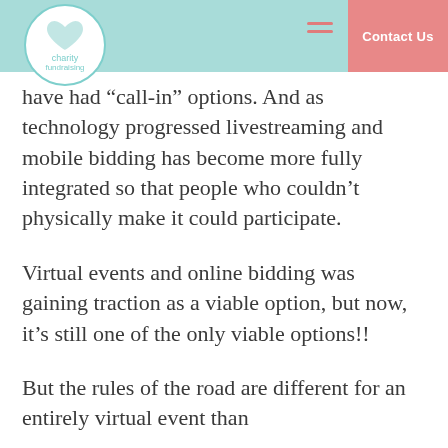charity fundraising — Contact Us
have had “call-in” options. And as technology progressed livestreaming and mobile bidding has become more fully integrated so that people who couldn’t physically make it could participate.
Virtual events and online bidding was gaining traction as a viable option, but now, it’s still one of the only viable options!!
But the rules of the road are different for an entirely virtual event than